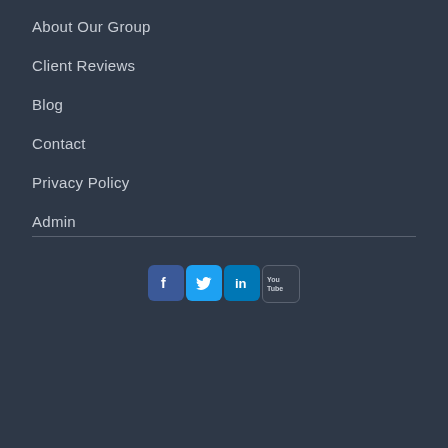About Our Group
Client Reviews
Blog
Contact
Privacy Policy
Admin
[Figure (infographic): Social media icons: Facebook, Twitter, LinkedIn, YouTube]